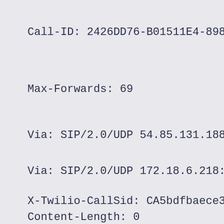Call-ID: 2426DD76-B01511E4-8981...
Max-Forwards: 69
Via: SIP/2.0/UDP 54.85.131.188:
Via: SIP/2.0/UDP 172.18.6.218:5
X-Twilio-CallSid: CA5bdfbaece34
Content-Length: 0